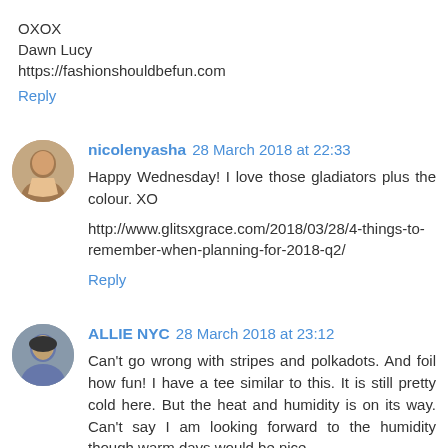OXOX
Dawn Lucy
https://fashionshouldbefun.com
Reply
nicolenyasha 28 March 2018 at 22:33
Happy Wednesday! I love those gladiators plus the colour. XO
http://www.glitsxgrace.com/2018/03/28/4-things-to-remember-when-planning-for-2018-q2/
Reply
ALLIE NYC 28 March 2018 at 23:12
Can't go wrong with stripes and polkadots. And foil how fun! I have a tee similar to this. It is still pretty cold here. But the heat and humidity is on its way. Can't say I am looking forward to the humidity though warm days would be nice.